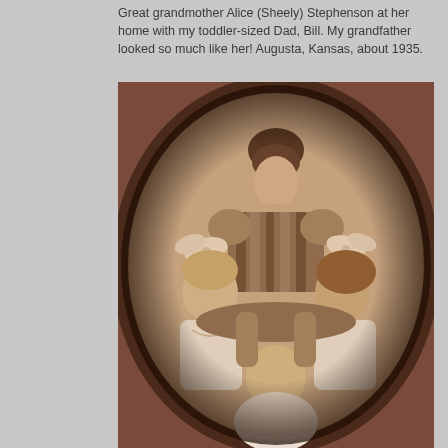Great grandmother Alice (Sheely) Stephenson at her home with my toddler-sized Dad, Bill. My grandfather looked so much like her! Augusta, Kansas, about 1935.
[Figure (photo): Sepia-toned antique oval portrait photograph of a woman with upswept hair seated with three young children — two girls with large hair bows flanking her, and a baby in the center foreground. Early 1900s studio portrait style.]